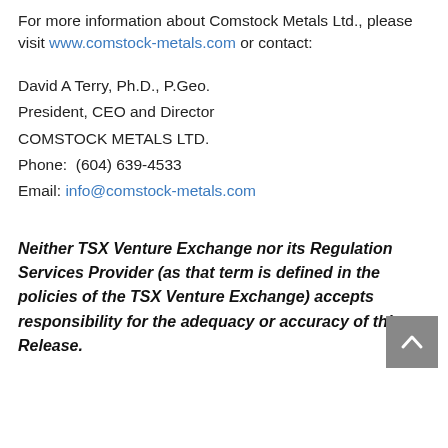For more information about Comstock Metals Ltd., please visit www.comstock-metals.com or contact:
David A Terry, Ph.D., P.Geo.
President, CEO and Director
COMSTOCK METALS LTD.
Phone:  (604) 639-4533
Email: info@comstock-metals.com
Neither TSX Venture Exchange nor its Regulation Services Provider (as that term is defined in the policies of the TSX Venture Exchange) accepts responsibility for the adequacy or accuracy of this Release.